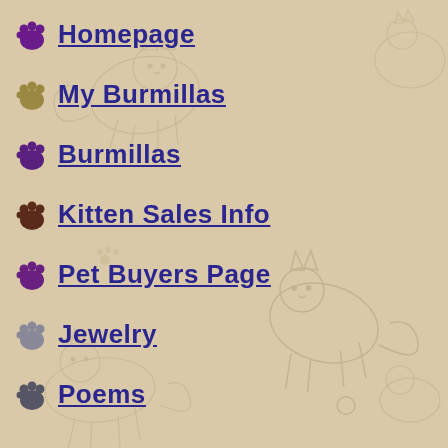[Figure (illustration): Tan/beige background with faint watermark line drawings of cats in various poses scattered across the page]
Homepage
My Burmillas
Burmillas
Kitten Sales Info
Pet Buyers Page
Jewelry
Poems